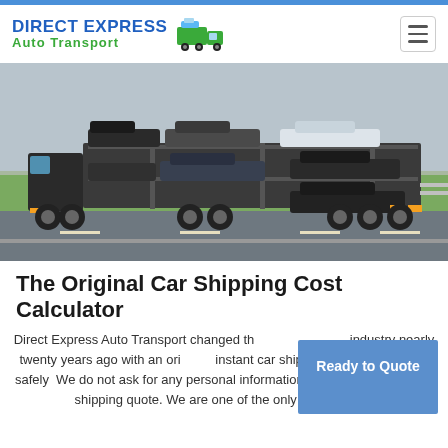DIRECT EXPRESS Auto Transport
[Figure (photo): A car carrier truck loaded with multiple vehicles driving on a highway]
The Original Car Shipping Cost Calculator
Direct Express Auto Transport changed the industry nearly twenty years ago with an original instant car shipping cost calculator to safely. We do not ask for any personal information before providing a car shipping quote. We are one of the only car transport